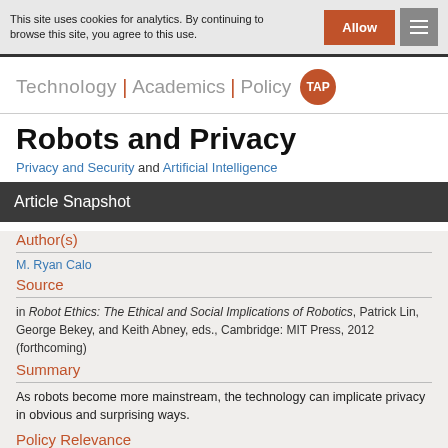This site uses cookies for analytics. By continuing to browse this site, you agree to this use.
Technology | Academics | Policy TAP
Robots and Privacy
Privacy and Security and Artificial Intelligence
Article Snapshot
Author(s)
M. Ryan Calo
Source
in Robot Ethics: The Ethical and Social Implications of Robotics, Patrick Lin, George Bekey, and Keith Abney, eds., Cambridge: MIT Press, 2012 (forthcoming)
Summary
As robots become more mainstream, the technology can implicate privacy in obvious and surprising ways.
Policy Relevance